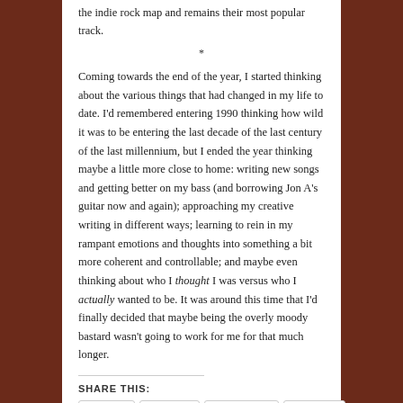the indie rock map and remains their most popular track.
*
Coming towards the end of the year, I started thinking about the various things that had changed in my life to date. I'd remembered entering 1990 thinking how wild it was to be entering the last decade of the last century of the last millennium, but I ended the year thinking maybe a little more close to home: writing new songs and getting better on my bass (and borrowing Jon A's guitar now and again); approaching my creative writing in different ways; learning to rein in my rampant emotions and thoughts into something a bit more coherent and controllable; and maybe even thinking about who I thought I was versus who I actually wanted to be. It was around this time that I'd finally decided that maybe being the overly moody bastard wasn't going to work for me for that much longer.
SHARE THIS:
Email  Twitter  Facebook  Tumblr